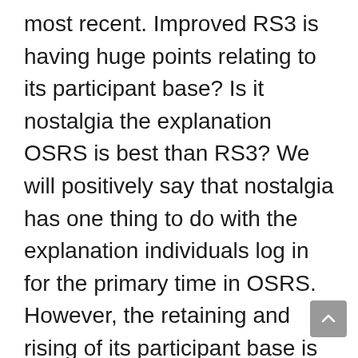most recent. Improved RS3 is having huge points relating to its participant base? Is it nostalgia the explanation OSRS is best than RS3? We will positively say that nostalgia has one thing to do with the explanation individuals log in for the primary time in OSRS. However, the retaining and rising of its participant base is one thing we can't give nostalgia credit score for. Restorative nostalgia offers with the “return home” portion, making you wish to reconstruct and relive the way in which issues have been previously. In different phrases, the feeling to return and the longing is momentary